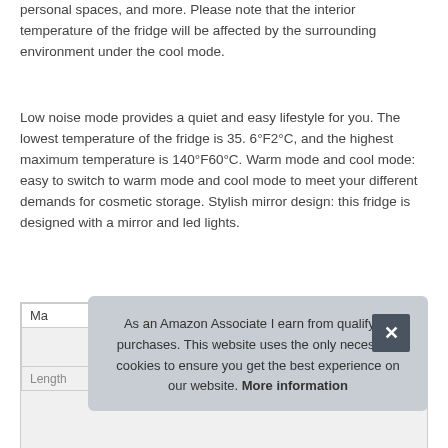personal spaces, and more. Please note that the interior temperature of the fridge will be affected by the surrounding environment under the cool mode.
Low noise mode provides a quiet and easy lifestyle for you. The lowest temperature of the fridge is 35. 6°F2°C, and the highest maximum temperature is 140°F60°C. Warm mode and cool mode: easy to switch to warm mode and cool mode to meet your different demands for cosmetic storage. Stylish mirror design: this fridge is designed with a mirror and led lights.
| Ma |  |
| Length | 10.00 Inches |
As an Amazon Associate I earn from qualifying purchases. This website uses the only necessary cookies to ensure you get the best experience on our website. More information